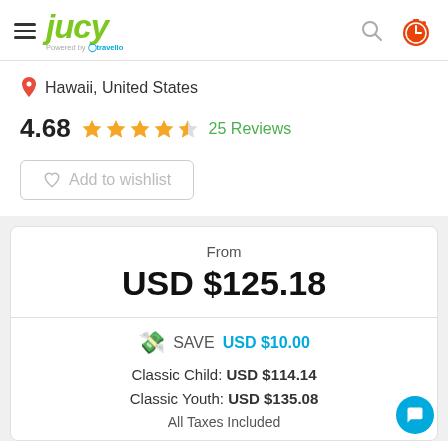JUCY powered by travello
Hawaii, United States
4.68  25 Reviews
Add to wishlist
From
USD $125.18
SAVE USD $10.00
Classic Child: USD $114.14
Classic Youth: USD $135.08
All Taxes Included